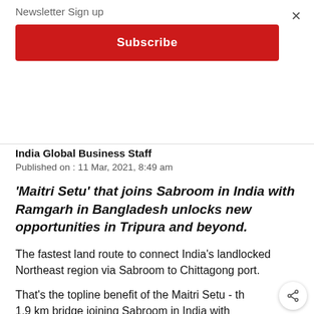Newsletter Sign up
Subscribe
India Global Business Staff
Published on : 11 Mar, 2021, 8:49 am
'Maitri Setu' that joins Sabroom in India with Ramgarh in Bangladesh unlocks new opportunities in Tripura and beyond.
The fastest land route to connect India's landlocked Northeast region via Sabroom to Chittagong port.
That's the topline benefit of the Maitri Setu - th 1.9 km bridge joining Sabroom in India with